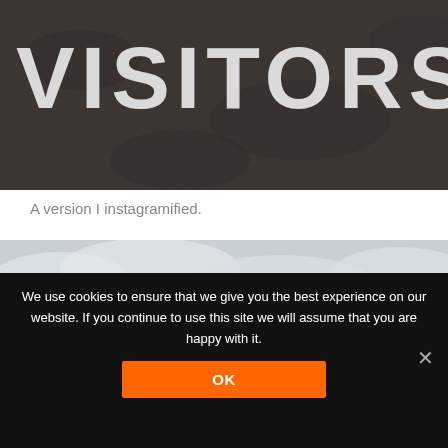[Figure (photo): Close-up of dark asphalt with white painted text reading 'VISITORS', cropped so only partial letters are visible at top.]
A version I instagramified.
[Figure (photo): Outdoor photo showing an overcast cloudy sky, a street lamp, and a Lotus dealership sign (yellow circle logo with 'LOTUS' text) in the right portion.]
We use cookies to ensure that we give you the best experience on our website. If you continue to use this site we will assume that you are happy with it.